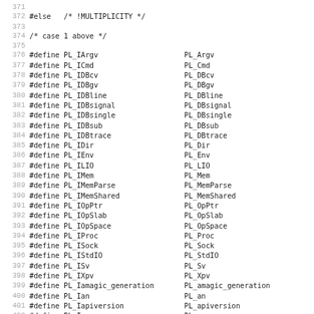371
372 #else   /* !MULTIPLICITY */
373
374 /* case 1 above */
375
376 #define PL_IArgv                    PL_Argv
377 #define PL_ICmd                     PL_Cmd
378 #define PL_IDBcv                    PL_DBcv
379 #define PL_IDBgv                    PL_DBgv
380 #define PL_IDBline                  PL_DBline
381 #define PL_IDBsignal                PL_DBsignal
382 #define PL_IDBsingle                PL_DBsingle
383 #define PL_IDBsub                   PL_DBsub
384 #define PL_IDBtrace                 PL_DBtrace
385 #define PL_IDir                     PL_Dir
386 #define PL_IEnv                     PL_Env
387 #define PL_ILIO                     PL_LIO
388 #define PL_IMem                     PL_Mem
389 #define PL_IMemParse                PL_MemParse
390 #define PL_IMemShared               PL_MemShared
391 #define PL_IOpPtr                   PL_OpPtr
392 #define PL_IOpSlab                  PL_OpSlab
393 #define PL_IOpSpace                 PL_OpSpace
394 #define PL_IProc                    PL_Proc
395 #define PL_ISock                    PL_Sock
396 #define PL_IStdIO                   PL_StdIO
397 #define PL_ISv                      PL_Sv
398 #define PL_IXpv                     PL_Xpv
399 #define PL_Iamagic_generation       PL_amagic_generation
400 #define PL_Ian                      PL_an
401 #define PL_Iapiversion              PL_apiversion
402 #define PL_Iargvgv                  PL_argvgv